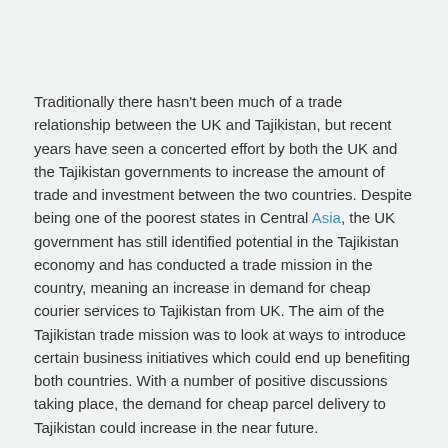Traditionally there hasn't been much of a trade relationship between the UK and Tajikistan, but recent years have seen a concerted effort by both the UK and the Tajikistan governments to increase the amount of trade and investment between the two countries. Despite being one of the poorest states in Central Asia, the UK government has still identified potential in the Tajikistan economy and has conducted a trade mission in the country, meaning an increase in demand for cheap courier services to Tajikistan from UK. The aim of the Tajikistan trade mission was to look at ways to introduce certain business initiatives which could end up benefiting both countries. With a number of positive discussions taking place, the demand for cheap parcel delivery to Tajikistan could increase in the near future.
As it stands, Tajikistan primarily trades with China, Russia and Kazakhstan, but that hasn't stopped plenty of UK businesses and residents alike looking for parcel delivery to Tajikistan services.